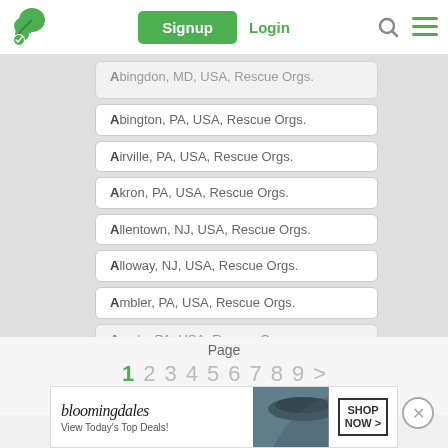Signup | Login
Abington, MD, USA, Rescue Orgs.
Abington, PA, USA, Rescue Orgs.
Airville, PA, USA, Rescue Orgs.
Akron, PA, USA, Rescue Orgs.
Allentown, NJ, USA, Rescue Orgs.
Alloway, NJ, USA, Rescue Orgs.
Ambler, PA, USA, Rescue Orgs.
Arcola, PA, USA, Rescue Orgs.
Page
1 2 3 4 5 6 7 8 9 >
Items per page: 20 40 60
[Figure (screenshot): Bloomingdale's advertisement banner: 'View Today's Top Deals!' with SHOP NOW button]